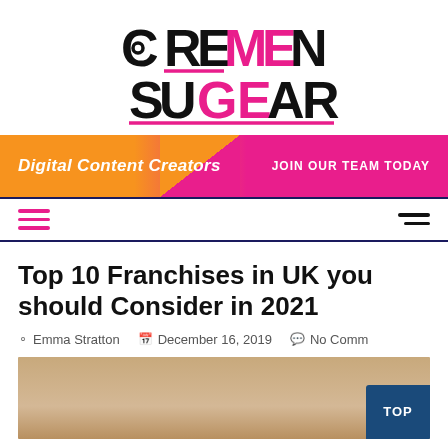[Figure (logo): Cremen SuGear logo in bold black and pink font with decorative dot and underlines]
[Figure (infographic): Orange-to-pink gradient banner reading 'Digital Content Creators' on the left and 'JOIN OUR TEAM TODAY' on the right]
[Figure (infographic): Navigation bar with pink hamburger menu on the left and dark hamburger menu on the right, bordered by dark blue lines]
Top 10 Franchises in UK you should Consider in 2021
Emma Stratton   December 16, 2019   No Comments
[Figure (photo): Partial photo showing two people against a beige background, cropped at bottom of page]